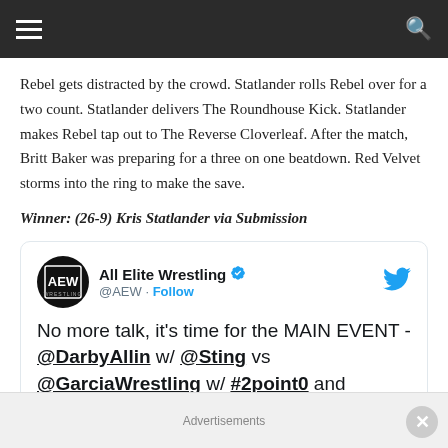Navigation bar with hamburger menu and search icon
Rebel gets distracted by the crowd. Statlander rolls Rebel over for a two count. Statlander delivers The Roundhouse Kick. Statlander makes Rebel tap out to The Reverse Cloverleaf. After the match, Britt Baker was preparing for a three on one beatdown. Red Velvet storms into the ring to make the save.
Winner: (26-9) Kris Statlander via Submission
[Figure (screenshot): Embedded tweet from All Elite Wrestling (@AEW) with verified badge and Follow button. Tweet text: No more talk, it's time for the MAIN EVENT - @DarbyAllin w/ @Sting vs @GarciaWrestling w/ #2point0 and]
Advertisements